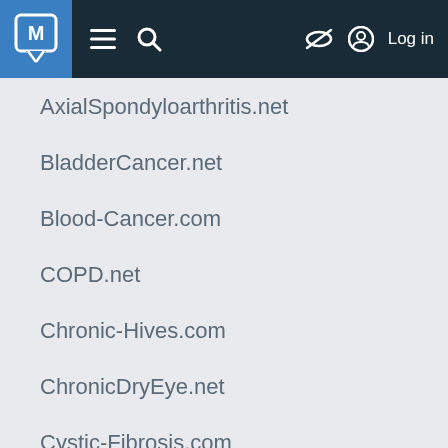M [menu] [search] [hidden] Log in
AxialSpondyloarthritis.net
BladderCancer.net
Blood-Cancer.com
COPD.net
Chronic-Hives.com
ChronicDryEye.net
Cystic-Fibrosis.com
Endometriosis.net
EpilepsyDisease.com
H-I-V.net
HSDisease.com
Heart-Failure.net